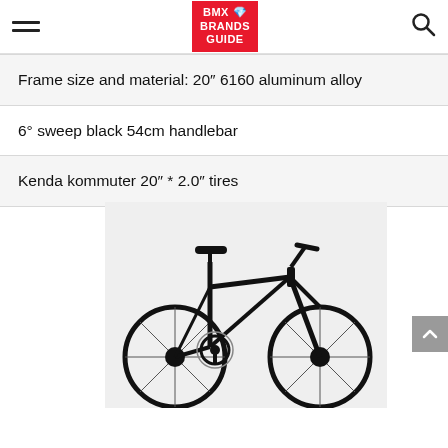BMX BRANDS GUIDE
Frame size and material: 20" 6160 aluminum alloy
6° sweep black 54cm handlebar
Kenda kommuter 20" * 2.0" tires
[Figure (photo): Black folding bicycle with 20-inch wheels, black frame, handlebar, saddle and drivetrain, photographed against a light grey background. Below the bicycle photo is a red banner reading CHECK PRICE with an Amazon logo.]